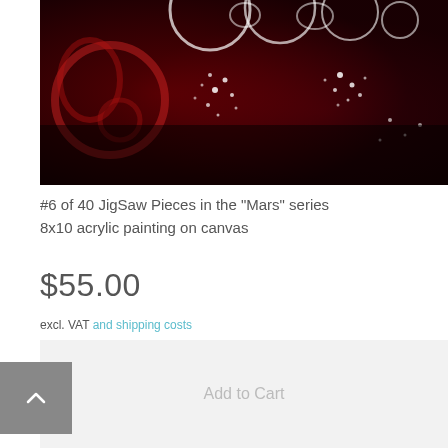[Figure (photo): Partial view of an acrylic painting on canvas with deep red/maroon tones, white circular bubble-like shapes, floral motifs, and small white dot clusters scattered across the surface.]
#6 of 40 JigSaw Pieces in the "Mars" series
8x10 acrylic painting on canvas
$55.00
excl. VAT and shipping costs
⊘  Sold Out